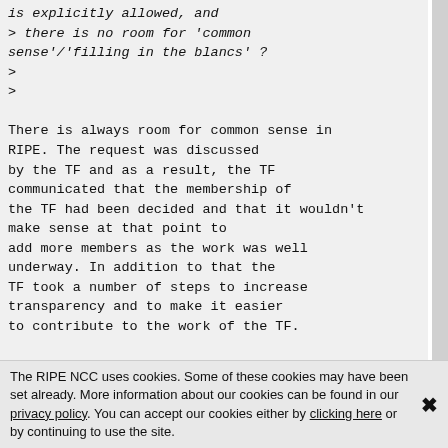is explicitly allowed, and
> there is no room for 'common sense'/'filling in the blancs' ?
>
>

There is always room for common sense in RIPE. The request was discussed by the TF and as a result, the TF communicated that the membership of the TF had been decided and that it wouldn't make sense at that point to add more members as the work was well underway. In addition to that the TF took a number of steps to increase transparency and to make it easier to contribute to the work of the TF.

Kind regards,
Mirjam
The RIPE NCC uses cookies. Some of these cookies may have been set already. More information about our cookies can be found in our privacy policy. You can accept our cookies either by clicking here or by continuing to use the site.